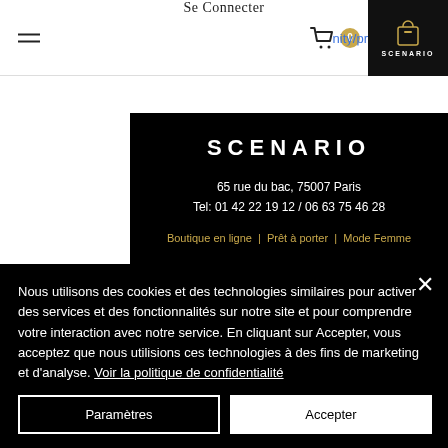≡  Se Connecter  🛒 0  SCENARIO  nity/pr
SCENARIO
65 rue du bac, 75007 Paris
Tel: 01 42 22 19 12 / 06 63 75 46 28
Boutique en ligne  |  Prêt à porter  |  Mode Femme
ACCUEIL   SHOP   CONTACT
Nous utilisons des cookies et des technologies similaires pour activer des services et des fonctionnalités sur notre site et pour comprendre votre interaction avec notre service. En cliquant sur Accepter, vous acceptez que nous utilisions ces technologies à des fins de marketing et d'analyse. Voir la politique de confidentialité
Paramètres   Accepter